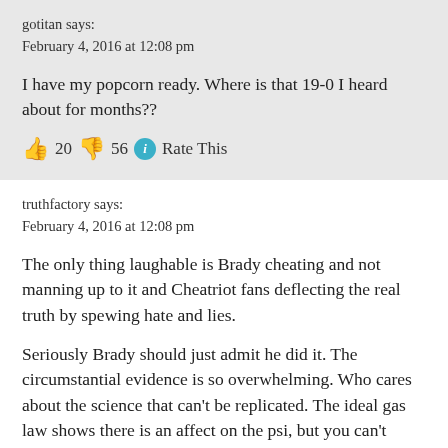gotitan says:
February 4, 2016 at 12:08 pm
I have my popcorn ready. Where is that 19-0 I heard about for months??
👍 20 👎 56 ℹ Rate This
truthfactory says:
February 4, 2016 at 12:08 pm
The only thing laughable is Brady cheating and not manning up to it and Cheatriot fans deflecting the real truth by spewing hate and lies.
Seriously Brady should just admit he did it. The circumstantial evidence is so overwhelming. Who cares about the science that can't be replicated. The ideal gas law shows there is an affect on the psi, but you can't create the exact control environment in a lab (not all the footballs were in the same exact environment through out the game, some were used, some